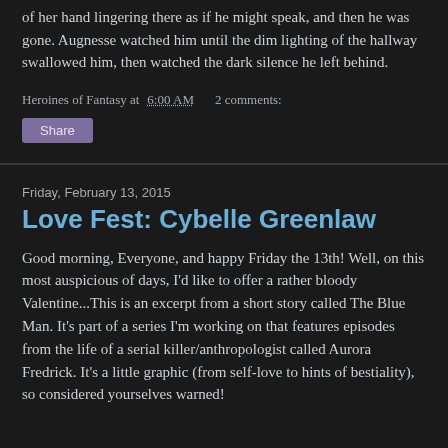of her hand lingering there as if he might speak, and then he was gone. Augnesse watched him until the dim lighting of the hallway swallowed him, then watched the dark silence he left behind.
Heroines of Fantasy at 6:00 AM    2 comments:
Share
Friday, February 13, 2015
Love Fest: Cybelle Greenlaw
Good morning, Everyone, and happy Friday the 13th! Well, on this most auspicious of days, I'd like to offer a rather bloody Valentine...This is an excerpt from a short story called The Blue Man. It's part of a series I'm working on that features episodes from the life of a serial killer/anthropologist called Aurora Fredrick. It's a little graphic (from self-love to hints of bestiality), so considered yourselves warned!